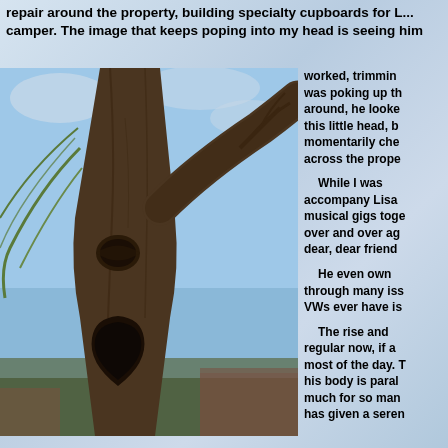repair around the property, building specialty cupboards for L... camper. The image that keeps poping into my head is seeing him
[Figure (photo): Close-up photograph of a large tree trunk with unusual knot holes resembling a face, with branches spreading against a blue sky and bare trees in the background.]
worked, trimming... was poking up th... around, he looke... this little head, b... momentarily che... across the prope...

While I was... accompany Lisa... musical gigs toge... over and over ag... dear, dear friend...

He even own... through many iss... VWs ever have is...

The rise and... regular now, if a... most of the day. T... his body is paral... much for so man... has given a seren...